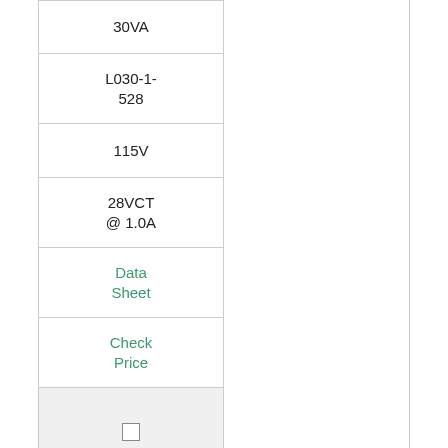| 30VA |
| L030-1-528 |
| 115V |
| 28VCT @ 1.0A |
| Data Sheet |
| Check Price |
| [checkbox] |
| 30VA |
| L030-1-536 |
| 115V |